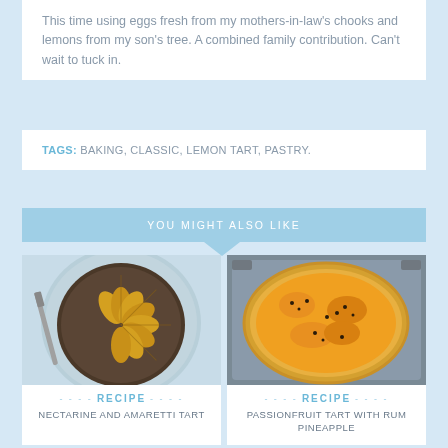This time using eggs fresh from my mothers-in-law's chooks and lemons from my son's tree. A combined family contribution. Can't wait to tuck in.
TAGS: BAKING, CLASSIC, LEMON TART, PASTRY.
YOU MIGHT ALSO LIKE
[Figure (photo): Overhead photo of a nectarine and amaretti tart on a light blue plate with a knife beside it]
RECIPE
NECTARINE AND AMARETTI TART
[Figure (photo): Overhead photo of a passionfruit tart with rum pineapple in a baking tin]
RECIPE
PASSIONFRUIT TART WITH RUM PINEAPPLE